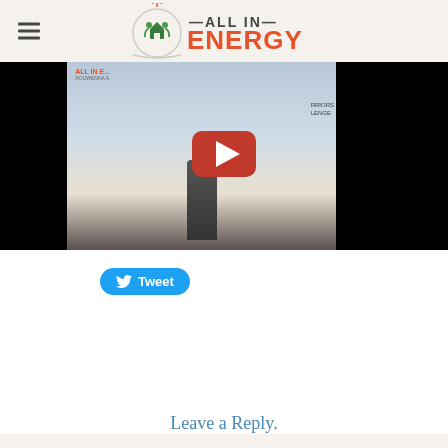All In Energy — website header with logo and navigation
[Figure (screenshot): YouTube video embed showing a woman speaking at a podium with 'ALL IN ENERGY' branding and a Warriors Challenge backdrop, with a red YouTube play button overlay in the center]
Tweet
Leave a Reply.